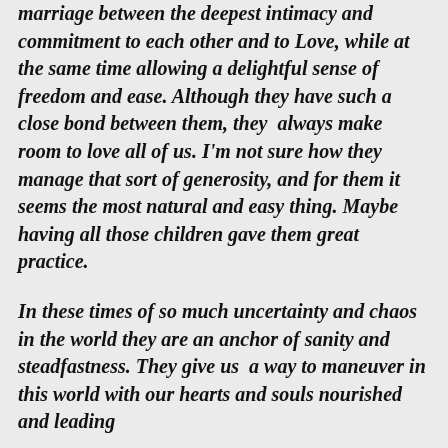marriage between the deepest intimacy and commitment to each other and to Love, while at the same time allowing a delightful sense of freedom and ease. Although they have such a close bond between them, they  always make room to love all of us. I'm not sure how they manage that sort of generosity, and for them it seems the most natural and easy thing. Maybe having all those children gave them great practice.
In these times of so much uncertainty and chaos in the world they are an anchor of sanity and steadfastness. They give us  a way to maneuver in this world with our hearts and souls nourished and leading...